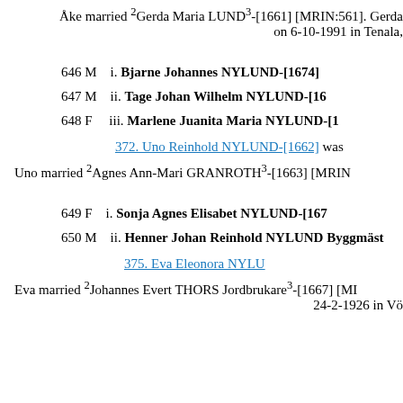Åke married ²Gerda Maria LUND³-[1661] [MRIN:561]. Gerda on 6-10-1991 in Tenala,
646 M   i. Bjarne Johannes NYLUND-[1674]
647 M   ii. Tage Johan Wilhelm NYLUND-[16
648 F   iii. Marlene Juanita Maria NYLUND-[1
372. Uno Reinhold NYLUND-[1662] was
Uno married ²Agnes Ann-Mari GRANROTH³-[1663] [MRIN
649 F   i. Sonja Agnes Elisabet NYLUND-[167
650 M   ii. Henner Johan Reinhold NYLUND Byggmäst
375. Eva Eleonora NYLU
Eva married ²Johannes Evert THORS Jordbrukare³-[1667] [MI 24-2-1926 in Vö